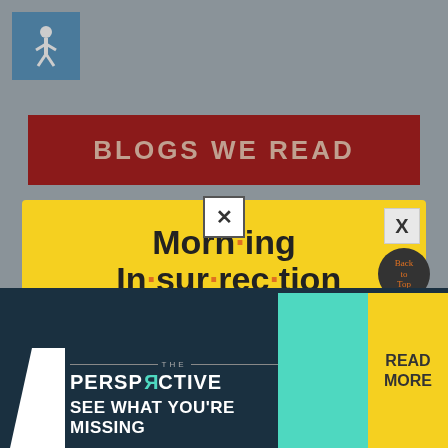[Figure (screenshot): Accessibility icon (wheelchair symbol) in blue box in top-left corner]
BLOGS WE READ
[Figure (screenshot): Yellow modal popup for Morning Insurrection newsletter subscription with orange dots between syllables, subtitle text, and orange JOIN NOW button]
Morning Insurrection
Get the latest news from Legal Insurrection, plus exclusive content, direct to your inbox every morning. Subscribe today – it's free!
[Figure (screenshot): Bottom advertisement banner for The Perspective with teal and yellow sections, reading 'SEE WHAT YOU'RE MISSING' with READ MORE button]